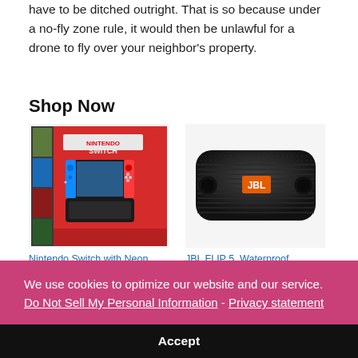have to be ditched outright. That is so because under a no-fly zone rule, it would then be unlawful for a drone to fly over your neighbor's property.
Shop Now
[Figure (photo): Nintendo Switch with Neon product box showing the gaming console]
Nintendo Switch with Neon
[Figure (photo): JBL FLIP 5 Waterproof portable Bluetooth speaker in black]
JBL FLIP 5, Waterproof
We use cookies to optimize our website and our service.  Do Not Sell My Personal Information - Privacy statement
Accept